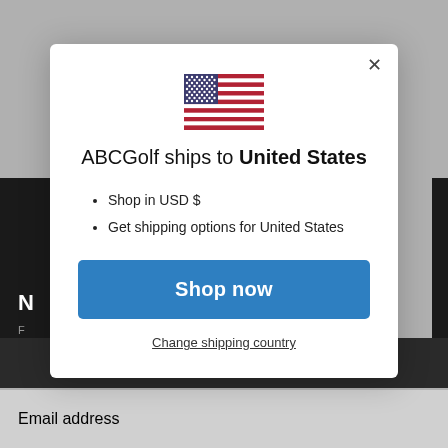[Figure (screenshot): US flag SVG icon centered above modal title]
ABCGolf ships to United States
Shop in USD $
Get shipping options for United States
Shop now
Change shipping country
N
F
Email address